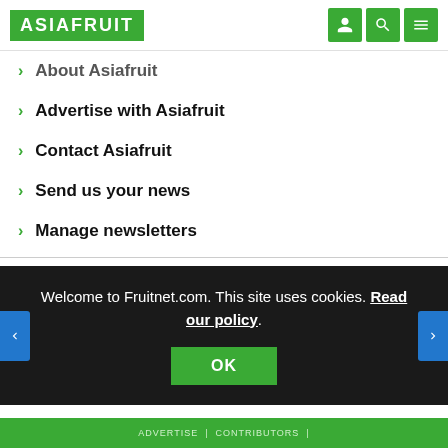ASIAFRUIT
About Asiafruit
Advertise with Asiafruit
Contact Asiafruit
Send us your news
Manage newsletters
Welcome to Fruitnet.com. This site uses cookies. Read our policy.
ADVERTISE | CONTRIBUTORS |